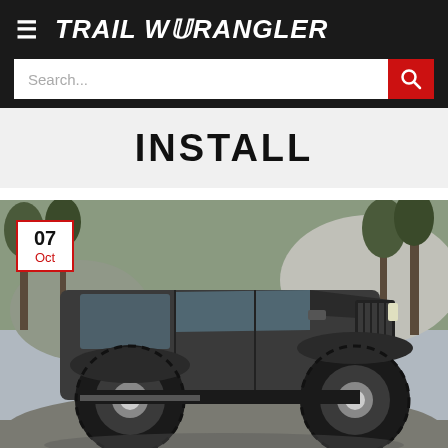≡  TRAIL WRANGLER
Search...
INSTALL
[Figure (photo): A lifted Jeep Wrangler (dark gray/black) on rocky terrain surrounded by trees, photographed from the front-left angle, with large off-road tires and high suspension lift. Date badge shows 07 Oct in upper left corner.]